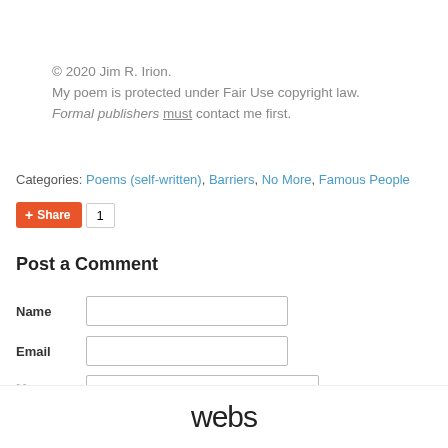© 2020 Jim R. Irion.
My poem is protected under Fair Use copyright law.
Formal publishers must contact me first.
Categories: Poems (self-written), Barriers, No More, Famous People
Share 1
Post a Comment
Name [input field]
Email [input field]
Message [textarea]
webs